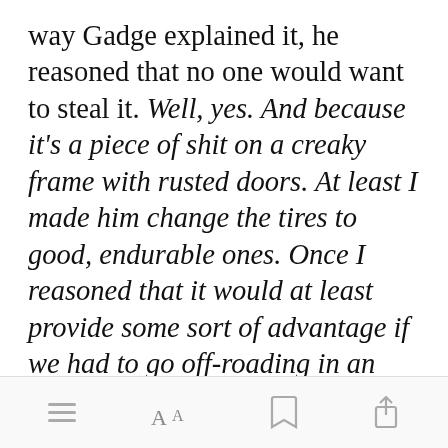way Gadge explained it, he reasoned that no one would want to steal it. Well, yes. And because it's a piece of shit on a creaky frame with rusted doors. At least I made him change the tires to good, endurable ones. Once I reasoned that it would at least provide some sort of advantage if we had to go off-roading in an escape or to chase a demon, he caved.
[Figure (other): Green 'Open in app' button]
Bottom navigation bar with menu, font size, bookmark, and share icons